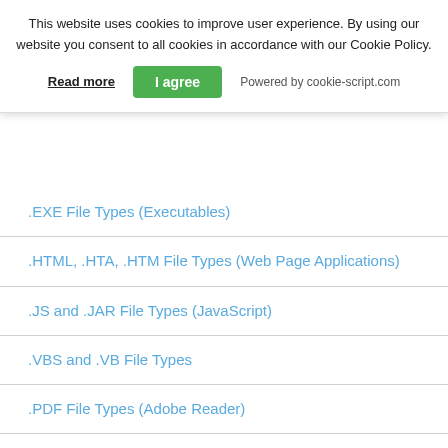This website uses cookies to improve user experience. By using our website you consent to all cookies in accordance with our Cookie Policy.
Read more | I agree | Powered by cookie-script.com
.EXE File Types (Executables)
.HTML, .HTA, .HTM File Types (Web Page Applications)
.JS and .JAR File Types (JavaScript)
.VBS and .VB File Types
.PDF File Types (Adobe Reader)
.SFX File Type (Self-Extracting Archives)
.BAT File Types (Batch files)